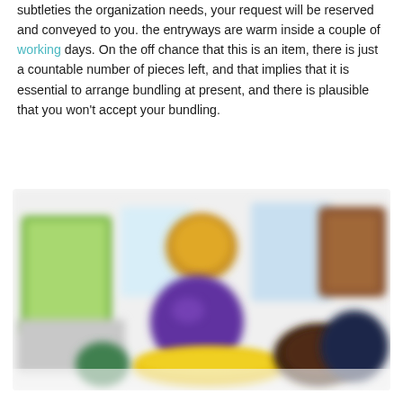subtleties the organization needs, your request will be reserved and conveyed to you. the entryways are warm inside a couple of working days. On the off chance that this is an item, there is just a countable number of pieces left, and that implies that it is essential to arrange bundling at present, and there is plausible that you won't accept your bundling.
[Figure (photo): A blurred product photo showing various colorful items including packaging boxes, a purple ball/sphere, a yellow object, green items, a brown container, and a dark navy/black object arranged together on a white background.]